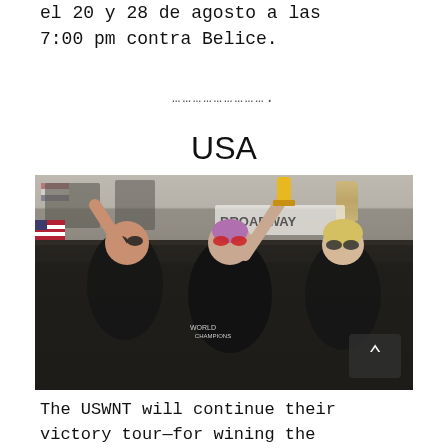el 20 y 28 de agosto a las 7:00 pm contra Belice.
…………………….
USA
[Figure (photo): USWNT players celebrating on a parade float, wearing black World Champions shirts. One player holds up a trophy. American flags visible in background near a building with a Broadway sign.]
The USWNT will continue their victory tour—for wining the 2019 World Cup in France—with